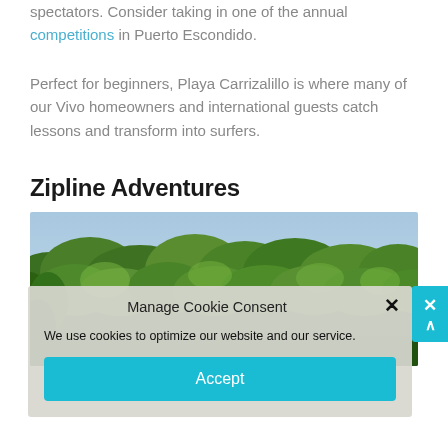spectators. Consider taking in one of the annual competitions in Puerto Escondido.
Perfect for beginners, Playa Carrizalillo is where many of our Vivo homeowners and international guests catch lessons and transform into surfers.
Zipline Adventures
[Figure (photo): Aerial photo of a lush green tropical forest canopy]
Manage Cookie Consent
We use cookies to optimize our website and our service.
Accept